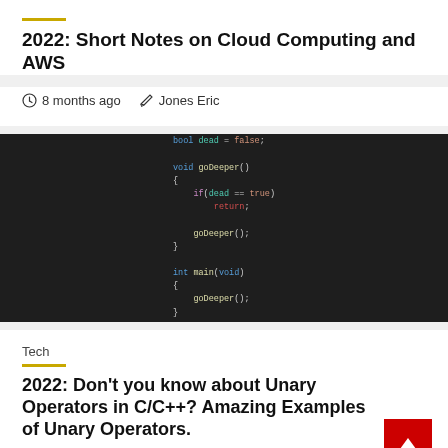2022: Short Notes on Cloud Computing and AWS
8 months ago   Jones Eric
[Figure (screenshot): Dark-themed code editor showing a C/C++ recursive function: bool dead = false; void goDeeper() { if(dead == true) return; goDeeper(); } int main(void) { goDeeper(); }]
Tech
2022: Don't you know about Unary Operators in C/C++? Amazing Examples of Unary Operators.
8 months ago   Jones Eric